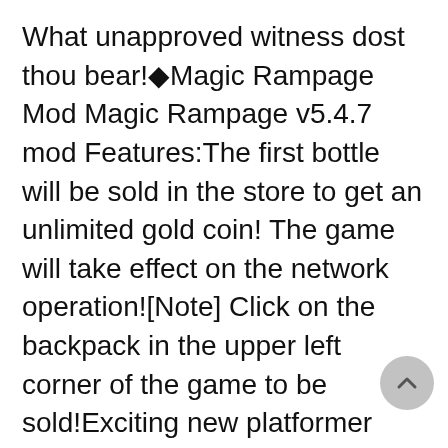What unapproved witness dost thou bear!◆Magic Rampage Mod Magic Rampage v5.4.7 mod Features:The first bottle will be sold in the store to get an unlimited gold coin! The game will take effect on the network operation![Note] Click on the backpack in the upper left corner of the game to be sold!Exciting new platformer that combines the RPG genre with fast-paced action gameplay. Magic Rampage features character customization and dozens of weapons to wield; from knives to magical staves. Each dungeon introduces the player to new obstacles, enemies and secret areas to explore. Search Bonus levels, strive in Survival mode, join forces with friendly NPCs and battle it out in challenging Boss fights.Magic Rampage brings back the look and feel of the very best classic platformers from the 90's, introducing refreshed and engaging gameplay mechanics. If you miss platformers from the 16-bit era, and think games nowadays aren't that good anymore, think twice! Magic Rampage is for you.Magic Rampage supports joysticks, gamepads and physical keyboard for even more accurate gameplay responsiveness.Want to join th